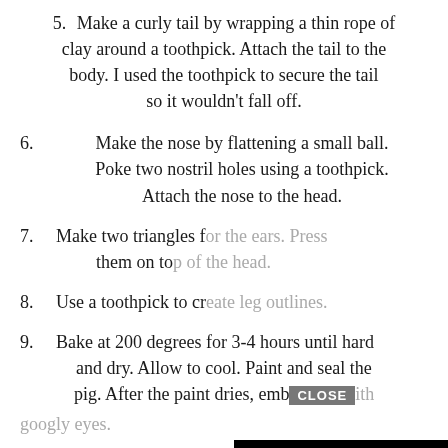5. Make a curly tail by wrapping a thin rope of clay around a toothpick. Attach the tail to the body. I used the toothpick to secure the tail so it wouldn't fall off.
6. Make the nose by flattening a small ball. Poke two nostril holes using a toothpick. Attach the nose to the head.
7. Make two triangles f[...] them on to[...]
8. Use a toothpick to cr[...]
9. Bake at 200 degrees for 3-4 hours until hard and dry. Allow to cool. Paint and seal the pig. After the paint dries, emb[...] with googly eyes.
[Figure (screenshot): Video player overlay with black background, loading spinner (white circle outline), close X button top-right, and CLOSE button at bottom]